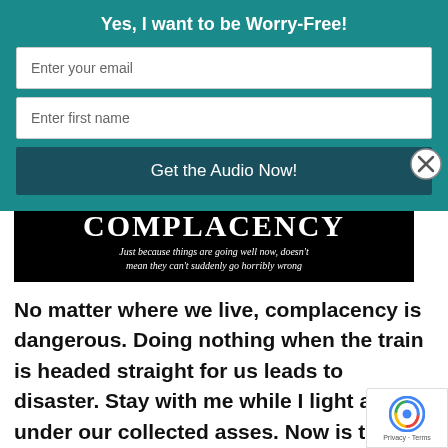Yes, I want to be Worry-Free!
Enter your email
Enter first name
Get the Audio Now!
[Figure (other): Black banner image with text 'COMPLACENCY' and subtitle 'Just because things are going well now, doesn’t mean they can’t suddenly go horribly wrong']
No matter where we live, complacency is dangerous. Doing nothing when the train is headed straight for us leads to disaster. Stay with me while I light a fire under our collected asses. Now is the time we all need to get out of our easy chair and recognize we can make a difference. We can make changes for the